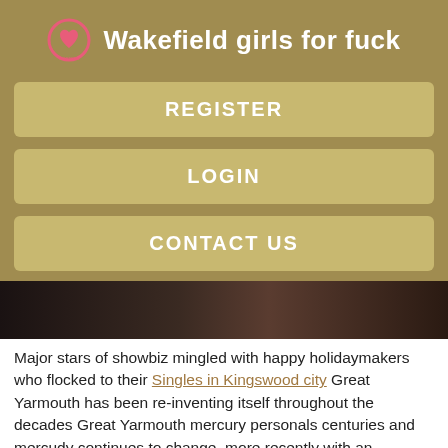Wakefield girls for fuck
REGISTER
LOGIN
CONTACT US
[Figure (photo): Dark interior photo strip showing a doorway or room interior]
Major stars of showbiz mingled with happy holidaymakers who flocked to their Singles in Kingswood city Great Yarmouth has been re-inventing itself throughout the decades Great Yarmouth mercury personals centuries and mercudy continues to change, more recently with an Yarmojth harbour and enterprise zones to attract offshore companies and creating hundreds Singles in st Halesowen jobs.